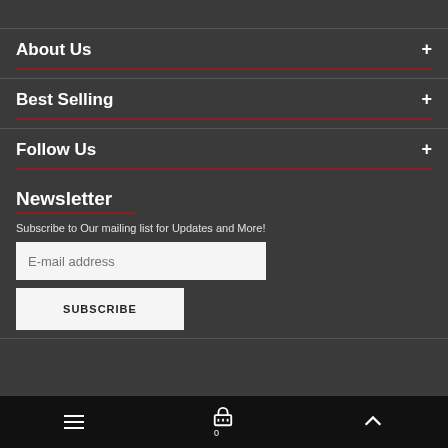About Us
Best Selling
Follow Us
Newsletter
Subscribe to Our mailing list for Updates and More!
E-mail address
SUBSCRIBE
≡  🛒 0  ∧